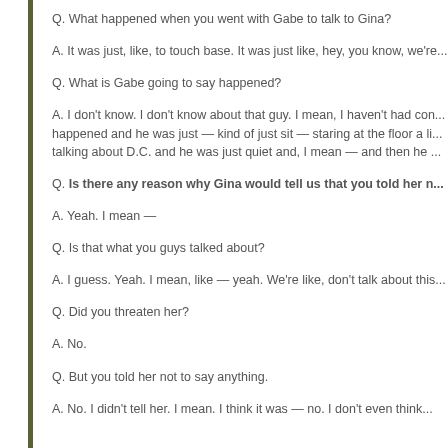Q. What happened when you went with Gabe to talk to Gina?
A. It was just, like, to touch base. It was just like, hey, you know, we're...
Q. What is Gabe going to say happened?
A. I don't know. I don't know about that guy. I mean, I haven't had contact... happened and he was just — kind of just sit — staring at the floor a little... talking about D.C. and he was just quiet and, I mean — and then he...
Q. Is there any reason why Gina would tell us that you told her n...
A. Yeah. I mean —
Q. Is that what you guys talked about?
A. I guess. Yeah. I mean, like — yeah. We're like, don't talk about this...
Q. Did you threaten her?
A. No.
Q. But you told her not to say anything.
A. No. I didn't tell her. I mean. I think it was — no. I don't even think...